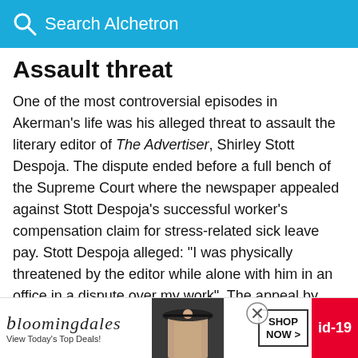Search Alchetron
Assault threat
One of the most controversial episodes in Akerman's life was his alleged threat to assault the literary editor of The Advertiser, Shirley Stott Despoja. The dispute ended before a full bench of the Supreme Court where the newspaper appealed against Stott Despoja's successful worker's compensation claim for stress-related sick leave pay. Stott Despoja alleged: "I was physically threatened by the editor while alone with him in an office in a dispute over my work". The appeal by The Advertiser was dismissed and Stott Despoja won h...
[Figure (screenshot): Bloomingdale's advertisement banner at bottom of page with logo, tagline 'View Today's Top Deals!', model photo, SHOP NOW button, and id-19 tag]